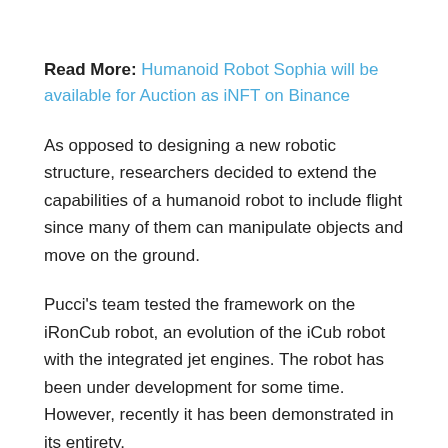Read More: Humanoid Robot Sophia will be available for Auction as iNFT on Binance
As opposed to designing a new robotic structure, researchers decided to extend the capabilities of a humanoid robot to include flight since many of them can manipulate objects and move on the ground.
Pucci's team tested the framework on the iRonCub robot, an evolution of the iCub robot with the integrated jet engines. The robot has been under development for some time. However, recently it has been demonstrated in its entirety.
Also, the team is planning to work on enhancing iRonCub's flight capabilities by developing additional...